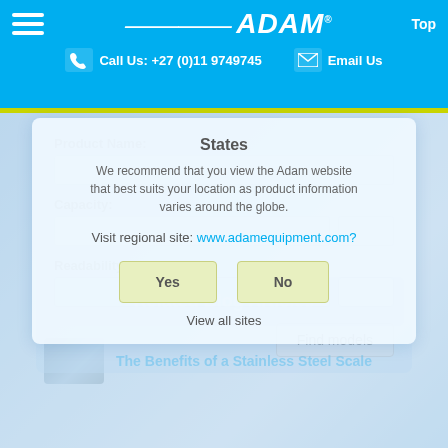Adam Equipment header with logo, phone: Call Us: +27 (0)11 9749745, Email Us, Top link
[Figure (screenshot): Website modal dialog overlay on product finder page. Modal says 'States', recommends viewing Adam website that best suits location as product info varies around globe. Asks 'Visit regional site: www.adamequipment.com?' with Yes and No buttons. Behind it is a search panel with Product Name, Capacity, and Readability fields with dropdowns. Find models button visible.]
Related Blog Articles
The Benefits of a Stainless Steel Scale